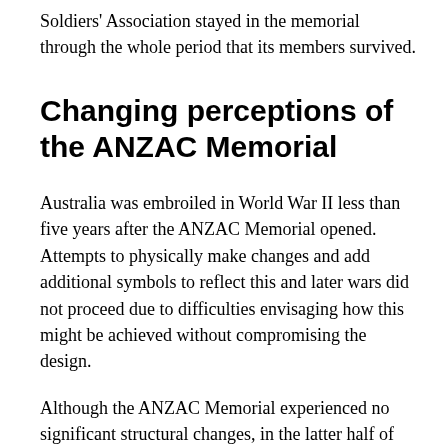Soldiers' Association stayed in the memorial through the whole period that its members survived.
Changing perceptions of the ANZAC Memorial
Australia was embroiled in World War II less than five years after the ANZAC Memorial opened. Attempts to physically make changes and add additional symbols to reflect this and later wars did not proceed due to difficulties envisaging how this might be achieved without compromising the design.
Although the ANZAC Memorial experienced no significant structural changes, in the latter half of the twentieth century people did tend to assume that it was a memorial